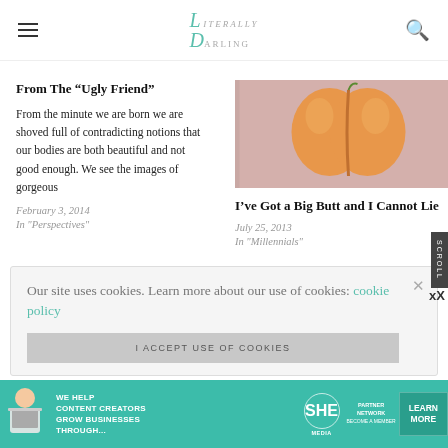Literally Darling
From The “Ugly Friend”
From the minute we are born we are shoved full of contradicting notions that our bodies are both beautiful and not good enough. We see the images of gorgeous
February 3, 2014
In "Perspectives"
[Figure (photo): A peach fruit on a pink background, positioned to resemble buttocks]
I’ve Got a Big Butt and I Cannot Lie
July 25, 2013
In "Millennials"
Our site uses cookies. Learn more about our use of cookies: cookie policy
I ACCEPT USE OF COOKIES
[Figure (infographic): SHE Partner Network advertisement banner - We help content creators grow businesses through... Learn More]